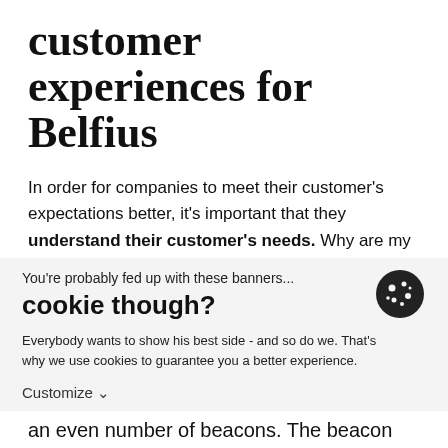customer experiences for Belfius
In order for companies to meet their customer's expectations better, it's important that they understand their customer's needs. Why are my customers here, are their
You're probably fed up with these banners...
cookie though?
Everybody wants to show his best side - and so do we. That's why we use cookies to guarantee you a better experience.
Customize ∨
Decline   Accept all
an even number of beacons. The beacon